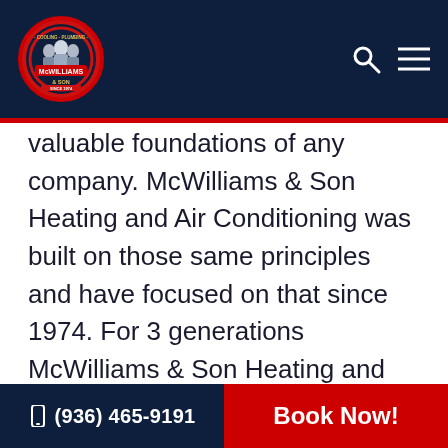[Figure (logo): McWilliams & Son logo — circular badge with red border, company name and figure illustrations, dark navy background header with search and menu icons]
valuable foundations of any company. McWilliams & Son Heating and Air Conditioning was built on those same principles and have focused on that since 1974. For 3 generations McWilliams & Son Heating and Air Conditioning has proven to be a reliable, locally – owned trustworthy HVAC business
(936) 465-9191   Book Now!